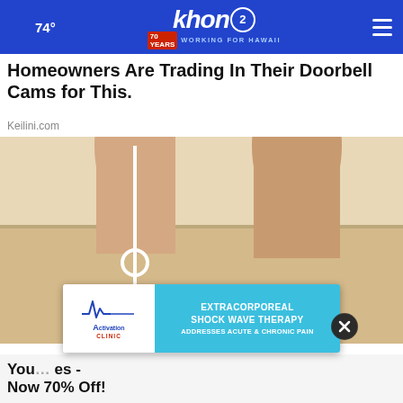74° | khon2 WORKING FOR HAWAII
Homeowners Are Trading In Their Doorbell Cams for This.
Keilini.com
[Figure (photo): Close-up photo of a person's lower legs and feet from behind, showing heels in sandals on a light-colored floor, with a white vertical line and circle overlay on the left leg indicating an alignment or posture analysis.]
[Figure (photo): Advertisement overlay: Activation Clinic logo on the left, teal panel on right reading EXTRACORPOREAL SHOCK WAVE THERAPY ADDRESSES ACUTE & CHRONIC PAIN, with a person in a swimsuit visible on the right side.]
You... es - Now 70% Off!